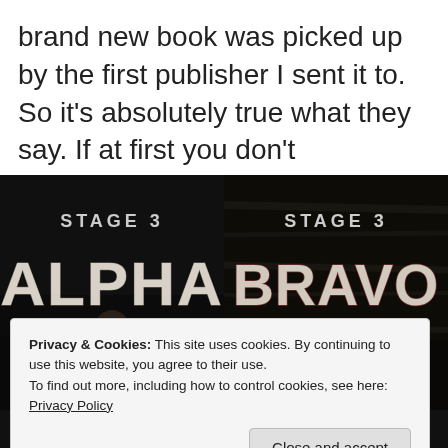brand new book was picked up by the first publisher I sent it to. So it's absolutely true what they say. If at first you don't succeed….
[Figure (illustration): Book cover for 'Stage 3 Alpha' by Ken Stark — dark cover with stylized distressed text on black background, figure holding knife visible at bottom]
[Figure (illustration): Book cover for 'Stage 3 Bravo' by Ken Stark — dark cover with stylized distressed text on dark background, creature/zombie hand visible]
Privacy & Cookies: This site uses cookies. By continuing to use this website, you agree to their use.
To find out more, including how to control cookies, see here: Privacy Policy